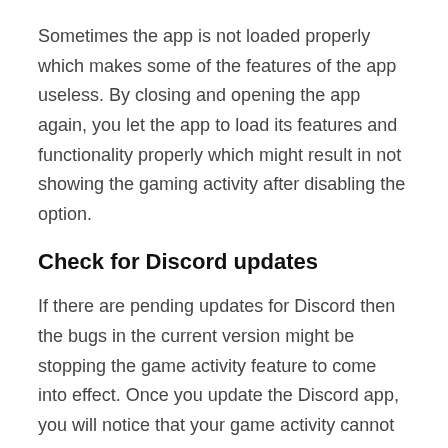Sometimes the app is not loaded properly which makes some of the features of the app useless. By closing and opening the app again, you let the app to load its features and functionality properly which might result in not showing the gaming activity after disabling the option.
Check for Discord updates
If there are pending updates for Discord then the bugs in the current version might be stopping the game activity feature to come into effect. Once you update the Discord app, you will notice that your game activity cannot be seen anymore. To check for any new updates on Discord, open the app on your PC and press ctlr + R. Any new updates if available